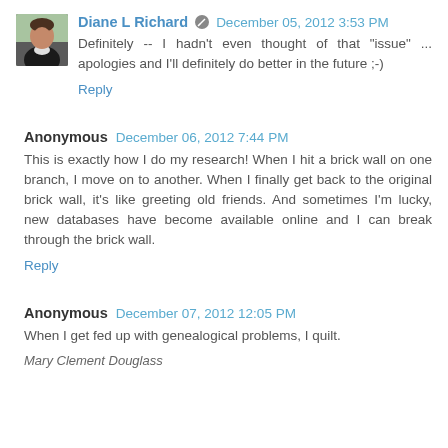Diane L Richard  •  December 05, 2012 3:53 PM
Definitely -- I hadn't even thought of that "issue" ... apologies and I'll definitely do better in the future ;-)
Reply
Anonymous  December 06, 2012 7:44 PM
This is exactly how I do my research! When I hit a brick wall on one branch, I move on to another. When I finally get back to the original brick wall, it's like greeting old friends. And sometimes I'm lucky, new databases have become available online and I can break through the brick wall.
Reply
Anonymous  December 07, 2012 12:05 PM
When I get fed up with genealogical problems, I quilt.
Mary Clement Douglass